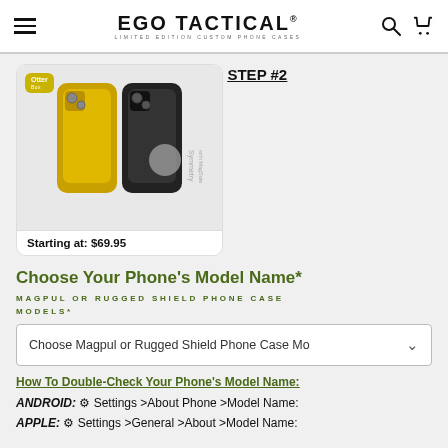EGO TACTICAL — LIMITED EDITION CUSTOM PHONE CASES
[Figure (photo): OtterBox Symmetry with MagSafe phone case product image showing two black phone cases. Starting at: $69.95]
STEP #2
Choose Your Phone's Model Name*
MAGPUL OR RUGGED SHIELD PHONE CASE MODELS*
Choose Magpul or Rugged Shield Phone Case Models
How To Double-Check Your Phone's Model Name:
ANDROID: ⚙ Settings >About Phone >Model Name:
APPLE: ⚙ Settings >General >About >Model Name: